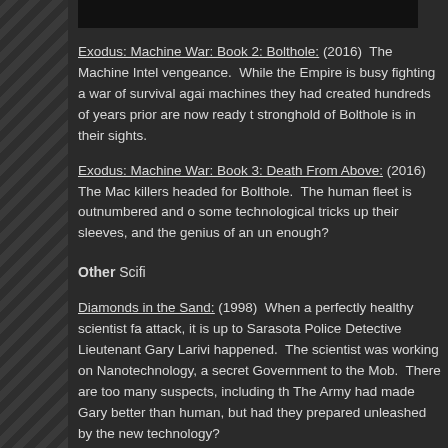[Figure (photo): Dark/black image at top of content area]
Exodus: Machine War: Book 2: Bolthole: (2016) The Machine Intel... vengeance. While the Empire is busy fighting a war of survival agai... machines they had created hundreds of years prior are now ready t... stronghold of Bolthole is in their sights.
Exodus: Machine War: Book 3: Death From Above: (2016) The Mac... killers headed for Bolthole. The human fleet is outnumbered and o... some technological tricks up their sleeves, and the genius of an un... enough?
Other Scifi
Diamonds in the Sand: (1998) When a perfectly healthy scientist fa... attack, it is up to Sarasota Police Detective Lieutenant Gary Larivi... happened. The scientist was working on Nanotechnology, a secret... Government to the Mob. There are too many suspects, including th... The Army had made Gary better than human, but had they prepared... unleashed by the new technology?
The ... (2001) The ...